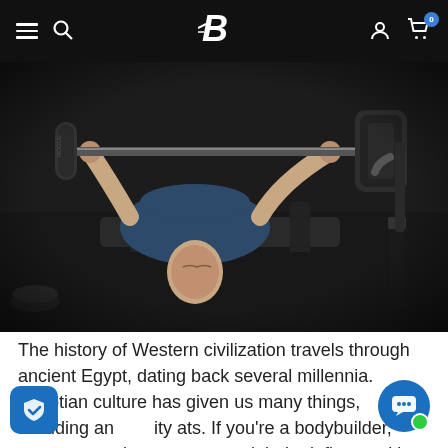Bodybuilding.com navigation bar with hamburger menu, search, logo, user icon, and cart (0)
[Figure (photo): A man performing a bench press exercise in a gym, lying on a bench, viewed from above/behind. He is lifting a barbell with weight plates (20.4 kg visible). The image is dark-toned gym photography.]
The history of Western civilization travels through ancient Egypt, dating back several millennia. Egyptian culture has given us many things, including an affinity for feats. If you're a bodybuilder, even your training program might be influenced by ancient Egyptian